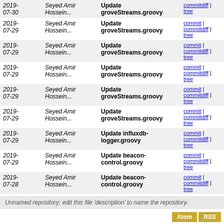| Date | Author | Message | Links |
| --- | --- | --- | --- |
| 2019-07-30 | Seyed Amir Hossein... | Update groveStreams.groovy | commitdiff | tree |
| 2019-07-29 | Seyed Amir Hossein... | Update groveStreams.groovy | commit | commitdiff | tree |
| 2019-07-29 | Seyed Amir Hossein... | Update groveStreams.groovy | commit | commitdiff | tree |
| 2019-07-29 | Seyed Amir Hossein... | Update groveStreams.groovy | commit | commitdiff | tree |
| 2019-07-29 | Seyed Amir Hossein... | Update groveStreams.groovy | commit | commitdiff | tree |
| 2019-07-29 | Seyed Amir Hossein... | Update groveStreams.groovy | commit | commitdiff | tree |
| 2019-07-29 | Seyed Amir Hossein... | Update influxdb-logger.groovy | commit | commitdiff | tree |
| 2019-07-29 | Seyed Amir Hossein... | Update beacon-control.groovy | commit | commitdiff | tree |
| 2019-07-28 | Seyed Amir Hossein... | Update beacon-control.groovy | commit | commitdiff | tree |
| 2019-07-27 | Seyed Amir Hossein... | Update ecobeeAwayFromHome.groovy | commit | commitdiff | tree |
| 2019-07-26 | Seyed Amir Hossein... | Update single-button-controller.groovy | commit | commitdiff | tree |
| 2019-07-26 | Seyed Amir Hossein... | Update single-button-controller.groovy | commit | commitdiff | tree |
Unnamed repository; edit this file 'description' to name the repository.